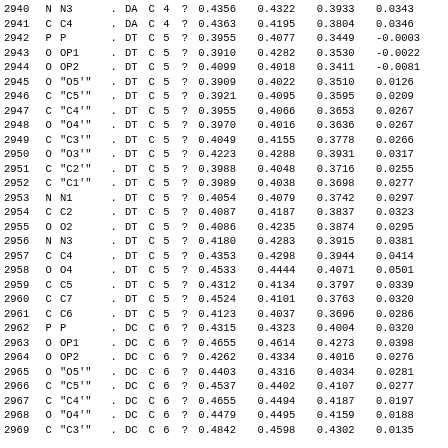| 2940 | N | N3 | . | DA | C | 4 | ? | 0.4356 | 0.4322 | 0.3933 | 0.0343 |  |
| 2941 | C | C4 | . | DA | C | 4 | ? | 0.4363 | 0.4195 | 0.3804 | 0.0346 |  |
| 2942 | P | P | . | DT | C | 5 | ? | 0.3955 | 0.4077 | 0.3449 | -0.0003 |  |
| 2943 | O | OP1 | . | DT | C | 5 | ? | 0.3910 | 0.4282 | 0.3530 | -0.0022 |  |
| 2944 | O | OP2 | . | DT | C | 5 | ? | 0.4099 | 0.4018 | 0.3411 | -0.0081 |  |
| 2945 | O | "O5'" | . | DT | C | 5 | ? | 0.3909 | 0.4022 | 0.3510 | 0.0126 |  |
| 2946 | C | "C5'" | . | DT | C | 5 | ? | 0.3921 | 0.4095 | 0.3595 | 0.0209 |  |
| 2947 | C | "C4'" | . | DT | C | 5 | ? | 0.3955 | 0.4066 | 0.3653 | 0.0267 |  |
| 2948 | O | "O4'" | . | DT | C | 5 | ? | 0.3970 | 0.4016 | 0.3636 | 0.0267 |  |
| 2949 | C | "C3'" | . | DT | C | 5 | ? | 0.4049 | 0.4155 | 0.3778 | 0.0266 |  |
| 2950 | O | "O3'" | . | DT | C | 5 | ? | 0.4223 | 0.4288 | 0.3931 | 0.0317 |  |
| 2951 | C | "C2'" | . | DT | C | 5 | ? | 0.3988 | 0.4048 | 0.3716 | 0.0255 |  |
| 2952 | C | "C1'" | . | DT | C | 5 | ? | 0.3989 | 0.4038 | 0.3698 | 0.0277 |  |
| 2953 | N | N1 | . | DT | C | 5 | ? | 0.4054 | 0.4079 | 0.3742 | 0.0297 |  |
| 2954 | C | C2 | . | DT | C | 5 | ? | 0.4087 | 0.4187 | 0.3837 | 0.0323 |  |
| 2955 | O | O2 | . | DT | C | 5 | ? | 0.4086 | 0.4235 | 0.3874 | 0.0295 |  |
| 2956 | N | N3 | . | DT | C | 5 | ? | 0.4180 | 0.4283 | 0.3915 | 0.0381 |  |
| 2957 | C | C4 | . | DT | C | 5 | ? | 0.4353 | 0.4298 | 0.3944 | 0.0414 |  |
| 2958 | O | O4 | . | DT | C | 5 | ? | 0.4533 | 0.4444 | 0.4071 | 0.0501 |  |
| 2959 | C | C5 | . | DT | C | 5 | ? | 0.4312 | 0.4134 | 0.3797 | 0.0339 |  |
| 2960 | C | C7 | . | DT | C | 5 | ? | 0.4524 | 0.4101 | 0.3763 | 0.0320 |  |
| 2961 | C | C6 | . | DT | C | 5 | ? | 0.4123 | 0.4037 | 0.3696 | 0.0286 |  |
| 2962 | P | P | . | DC | C | 6 | ? | 0.4315 | 0.4323 | 0.4004 | 0.0320 |  |
| 2963 | O | OP1 | . | DC | C | 6 | ? | 0.4655 | 0.4614 | 0.4273 | 0.0398 |  |
| 2964 | O | OP2 | . | DC | C | 6 | ? | 0.4262 | 0.4334 | 0.4016 | 0.0276 |  |
| 2965 | O | "O5'" | . | DC | C | 6 | ? | 0.4403 | 0.4316 | 0.4034 | 0.0281 |  |
| 2966 | C | "C5'" | . | DC | C | 6 | ? | 0.4537 | 0.4402 | 0.4107 | 0.0277 |  |
| 2967 | C | "C4'" | . | DC | C | 6 | ? | 0.4655 | 0.4494 | 0.4187 | 0.0197 |  |
| 2968 | O | "O4'" | . | DC | C | 6 | ? | 0.4479 | 0.4495 | 0.4159 | 0.0188 |  |
| 2969 | C | "C3'" | . | DC | C | 6 | ? | 0.4842 | 0.4598 | 0.4302 | 0.0135 |  |